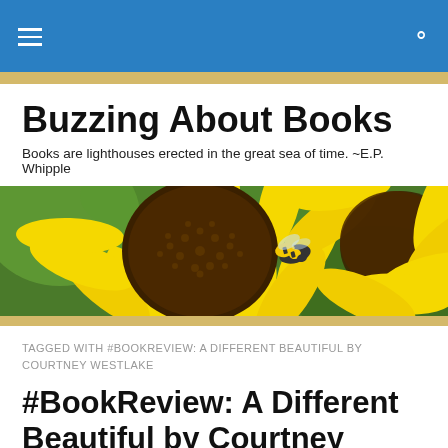Buzzing About Books
Books are lighthouses erected in the great sea of time. ~E.P. Whipple
[Figure (photo): Close-up photo of a yellow sunflower with a bee on its center, with green background]
TAGGED WITH #BOOKREVIEW: A DIFFERENT BEAUTIFUL BY COURTNEY WESTLAKE
#BookReview: A Different Beautiful by Courtney